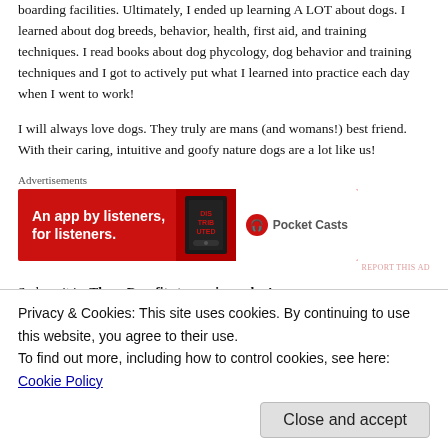boarding facilities. Ultimately, I ended up learning A LOT about dogs. I learned about dog breeds, behavior, health, first aid, and training techniques. I read books about dog phycology, dog behavior and training techniques and I got to actively put what I learned into practice each day when I went to work!
I will always love dogs. They truly are mans (and womans!) best friend. With their caring, intuitive and goofy nature dogs are a lot like us!
[Figure (screenshot): A red advertisement banner for Pocket Casts app with text 'An app by listeners, for listeners.']
So here it is; Three Benefits to owning a dog!
Exercise! Dogs need exercise. Fun fact: so do you! Now, the amount and intensity of the required exercise will vary depending on breed. You
Privacy & Cookies: This site uses cookies. By continuing to use this website, you agree to their use. To find out more, including how to control cookies, see here: Cookie Policy
Close and accept